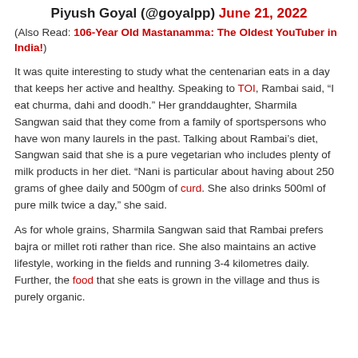Piyush Goyal (@goyalpp) June 21, 2022
(Also Read: 106-Year Old Mastanamma: The Oldest YouTuber in India!)
It was quite interesting to study what the centenarian eats in a day that keeps her active and healthy. Speaking to TOI, Rambai said, “I eat churma, dahi and doodh.” Her granddaughter, Sharmila Sangwan said that they come from a family of sportspersons who have won many laurels in the past. Talking about Rambai’s diet, Sangwan said that she is a pure vegetarian who includes plenty of milk products in her diet. “Nani is particular about having about 250 grams of ghee daily and 500gm of curd. She also drinks 500ml of pure milk twice a day,” she said.
As for whole grains, Sharmila Sangwan said that Rambai prefers bajra or millet roti rather than rice. She also maintains an active lifestyle, working in the fields and running 3-4 kilometres daily. Further, the food that she eats is grown in the village and thus is purely organic.